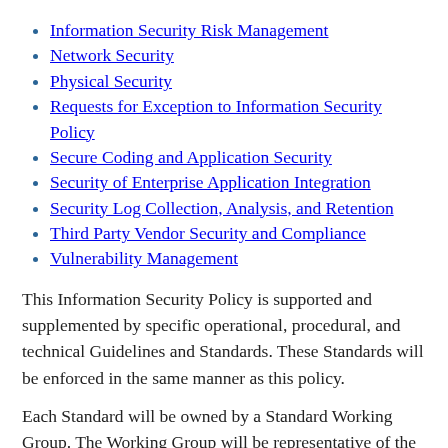Information Security Risk Management
Network Security
Physical Security
Requests for Exception to Information Security Policy
Secure Coding and Application Security
Security of Enterprise Application Integration
Security Log Collection, Analysis, and Retention
Third Party Vendor Security and Compliance
Vulnerability Management
This Information Security Policy is supported and supplemented by specific operational, procedural, and technical Guidelines and Standards. These Standards will be enforced in the same manner as this policy.
Each Standard will be owned by a Standard Working Group. The Working Group will be representative of the standard stakeholders and will be led by an OIS staff member and will include members of faculty and/or staff. The Standard Working Groups will be chartered by the CISO. The Standard Working Groups